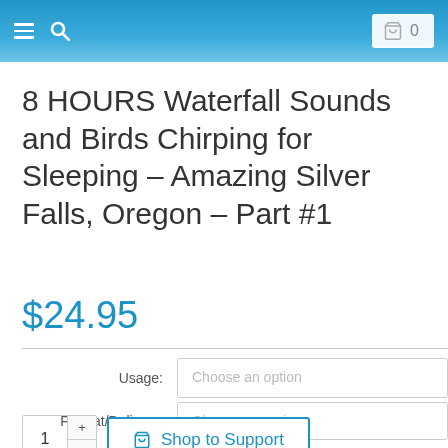≡ 🔍  🛒 0
8 HOURS Waterfall Sounds and Birds Chirping for Sleeping – Amazing Silver Falls, Oregon – Part #1
$24.95
Usage: Choose an option
Format/Delivery: Choose an option
1  Shop to Support